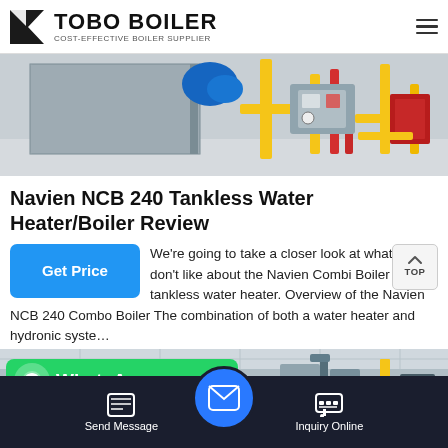TOBO BOILER — COST-EFFECTIVE BOILER SUPPLIER
[Figure (photo): Industrial boiler room with yellow and red pipes, blue equipment, and metallic walls]
Navien NCB 240 Tankless Water Heater/Boiler Review
We're going to take a closer look at what e and don't like about the Navien Combi Boiler tankless water heater. Overview of the Navien NCB 240 Combo Boiler The combination of both a water heater and hydronic syste…
[Figure (photo): Partial view of industrial boiler equipment, partially obscured by WhatsApp button and bottom navigation]
Send Message | Inquiry Online